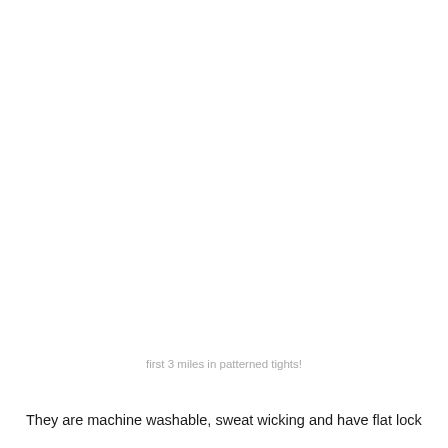first 3 miles in patterned tights!
They are machine washable, sweat wicking and have flat lock